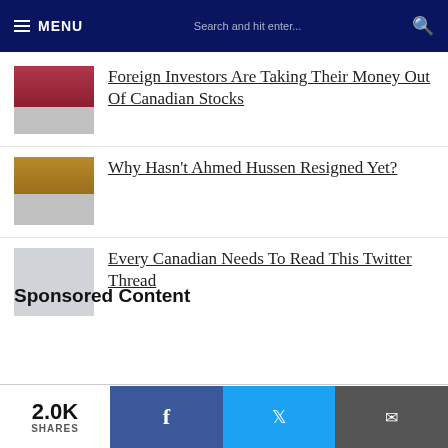MENU | Search and hit enter...
Foreign Investors Are Taking Their Money Out Of Canadian Stocks
Why Hasn't Ahmed Hussen Resigned Yet?
Every Canadian Needs To Read This Twitter Thread
Sponsored Content
2.0K SHARES